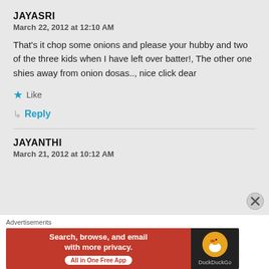JAYASRI
March 22, 2012 at 12:10 AM
That's it chop some onions and please your hubby and two of the three kids when I have left over batter!, The other one shies away from onion dosas.., nice click dear
★ Like
↳ Reply
JAYANTHI
March 21, 2012 at 10:12 AM
[Figure (screenshot): DuckDuckGo advertisement banner: orange-red background with text 'Search, browse, and email with more privacy. All in One Free App' and DuckDuckGo duck logo on dark background]